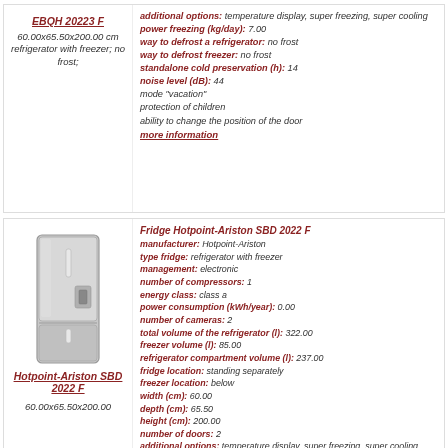[Figure (other): Top product card left panel: link EBQH 20223 F, description text about refrigerator dimensions]
additional options: temperature display, super freezing, super cooling
power freezing (kg/day): 7.00
way to defrost a refrigerator: no frost
way to defrost freezer: no frost
standalone cold preservation (h): 14
noise level (dB): 44
mode "vacation"
protection of children
ability to change the position of the door
more information
[Figure (photo): Hotpoint-Ariston SBD 2022 F refrigerator product photo - silver freestanding refrigerator with bottom freezer and water dispenser]
Fridge Hotpoint-Ariston SBD 2022 F
manufacturer: Hotpoint-Ariston
type fridge: refrigerator with freezer
management: electronic
number of compressors: 1
energy class: class a
power consumption (kWh/year): 0.00
number of cameras: 2
total volume of the refrigerator (l): 322.00
freezer volume (l): 85.00
refrigerator compartment volume (l): 237.00
fridge location: standing separately
freezer location: below
width (cm): 60.00
depth (cm): 65.50
height (cm): 200.00
number of doors: 2
additional options: temperature display, super freezing, super cooling
power freezing (kg/day): 11.00